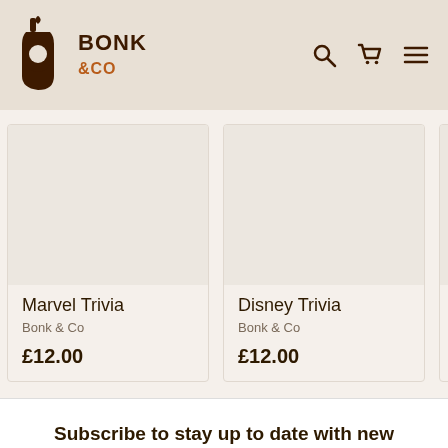[Figure (logo): Bonk & Co logo with stylized 'B' icon and text 'BONK &CO' in dark brown]
[Figure (screenshot): E-commerce product listing page showing Marvel Trivia at £12.00, Disney Trivia at £12.00, and partial view of Love & Trivia at £10.00 (cropped), with subscribe newsletter section below]
Marvel Trivia
Bonk & Co
£12.00
Disney Trivia
Bonk & Co
£12.00
Love & Trivia
Bonk &
£10.0
Subscribe to stay up to date with new products, offers and events